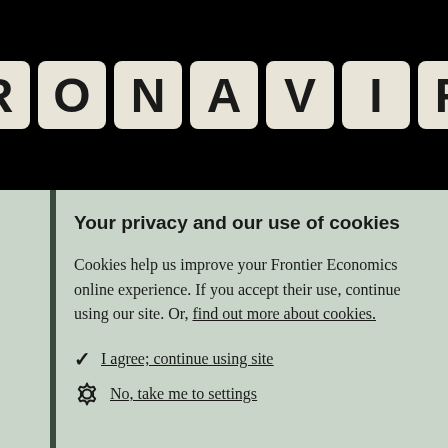[Figure (photo): Black background with Scrabble-like letter tiles spelling 'RONAVIR' (partial word, visible portion of 'CORONAVIRUS'). Tiles are cream/beige colored with bold black letters.]
Your privacy and our use of cookies
Cookies help us improve your Frontier Economics online experience. If you accept their use, continue using our site. Or, find out more about cookies.
✓ I agree; continue using site
⚙ No, take me to settings